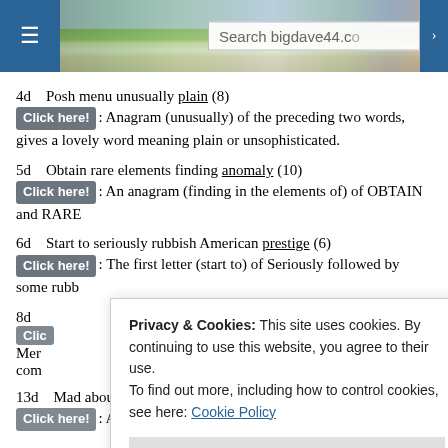[Figure (screenshot): Website header with navigation menu button, landscape photo banner, and search box reading 'Search bigdave44.co']
4d   Posh menu unusually plain (8)
Click here!: Anagram (unusually) of the preceding two words, gives a lovely word meaning plain or unsophisticated.
5d   Obtain rare elements finding anomaly (10)
Click here!: An anagram (finding in the elements of) of OBTAIN and RARE
6d   Start to seriously rubbish American prestige (6)
Click here!: The first letter (start to) of Seriously followed by some rubb
8d
Clic
Mer
com
Privacy & Cookies: This site uses cookies. By continuing to use this website, you agree to their use. To find out more, including how to control cookies, see here: Cookie Policy
Close and accept
13d   Mad about opening of live sensuality show (10)
Click here!: An adjective meaning mad or annoyed goes around